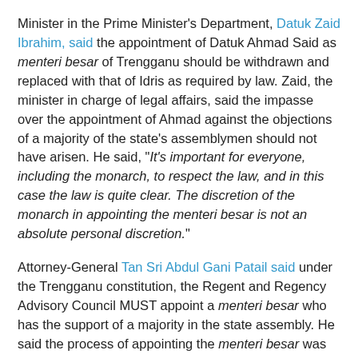Minister in the Prime Minister's Department, Datuk Zaid Ibrahim, said the appointment of Datuk Ahmad Said as menteri besar of Trengganu should be withdrawn and replaced with that of Idris as required by law. Zaid, the minister in charge of legal affairs, said the impasse over the appointment of Ahmad against the objections of a majority of the state's assemblymen should not have arisen. He said, "It's important for everyone, including the monarch, to respect the law, and in this case the law is quite clear. The discretion of the monarch in appointing the menteri besar is not an absolute personal discretion."
Attorney-General Tan Sri Abdul Gani Patail said under the Trengganu constitution, the Regent and Regency Advisory Council MUST appoint a menteri besar who has the support of a majority in the state assembly. He said the process of appointing the menteri besar was clearly spelt out in the state constitution and, in accordance